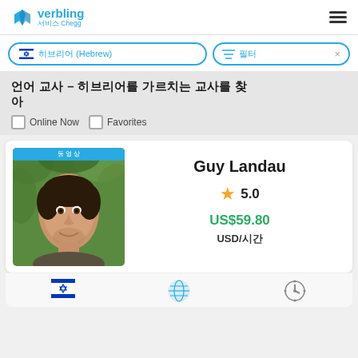verbling 서비스 Chegg
히브리어 (Hebrew)
필터  ×
언어 교사 – 히브리어를 가르치는 교사를 찾 아
Online Now
Favorites
[Figure (photo): Profile photo of Guy Landau, a young man smiling outdoors with green foliage background]
Guy Landau
5.0
US$59.80
USD/시간